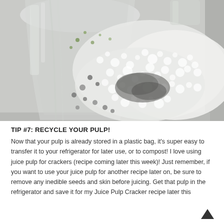[Figure (photo): Overhead photo of a blender/juicer with soapy foam and green juice residue in a sink, being cleaned with water and soap suds]
TIP #7: RECYCLE YOUR PULP!
Now that your pulp is already stored in a plastic bag, it's super easy to transfer it to your refrigerator for later use, or to compost! I love using juice pulp for crackers (recipe coming later this week)! Just remember, if you want to use your juice pulp for another recipe later on, be sure to remove any inedible seeds and skin before juicing. Get that pulp in the refrigerator and save it for my Juice Pulp Cracker recipe later this